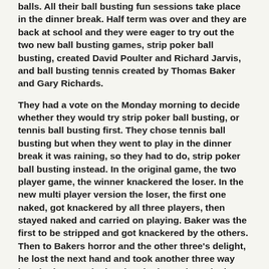balls. All their ball busting fun sessions take place in the dinner break. Half term was over and they are back at school and they were eager to try out the two new ball busting games, strip poker ball busting, created David Poulter and Richard Jarvis, and ball busting tennis created by Thomas Baker and Gary Richards.
They had a vote on the Monday morning to decide whether they would try strip poker ball busting, or tennis ball busting first. They chose tennis ball busting but when they went to play in the dinner break it was raining, so they had to do, strip poker ball busting instead. In the original game, the two player game, the winner knackered the loser. In the new multi player version the loser, the first one naked, got knackered by all three players, then stayed naked and carried on playing. Baker was the first to be stripped and got knackered by the others. Then to Bakers horror and the other three's delight, he lost the next hand and took another three way knackering. Jarvis then lost had to strip and take a three way knackering. Richards lost the next hand and had to endure, a three way knackering leaving them all naked accept for Poulter. Baker lost again and had to take another hard three way knackering. Poulter finally lost in the last game of the session and had to strip and be